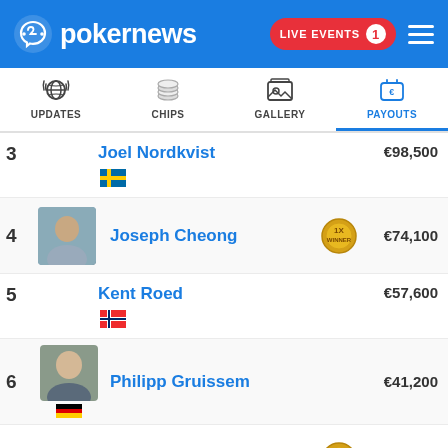[Figure (logo): PokerNews logo with blue header, LIVE EVENTS button, hamburger menu]
[Figure (screenshot): Navigation tabs: UPDATES, CHIPS, GALLERY, PAYOUTS (active)]
| Place | Player | Badge | Payout |
| --- | --- | --- | --- |
| 3 | Joel Nordkvist |  | €98,500 |
| 4 | Joseph Cheong | 1X WINNER | €74,100 |
| 5 | Kent Roed |  | €57,600 |
| 6 | Philipp Gruissem |  | €41,200 |
| 7 | Igor Kurganov | 1X WINNER | €32,900 |
| 8 | Igor Yaroshevskyy |  | €24,700 |